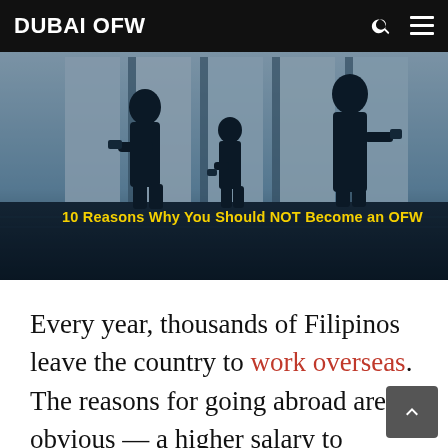DUBAI OFW
[Figure (photo): Silhouettes of people walking in an airport terminal with bright windows in the background. Overlay text reads: 10 Reasons Why You Should NOT Become an OFW]
10 Reasons Why You Should NOT Become an OFW
Every year, thousands of Filipinos leave the country to work overseas. The reasons for going abroad are obvious — a higher salary to support the family, more job opportunities,